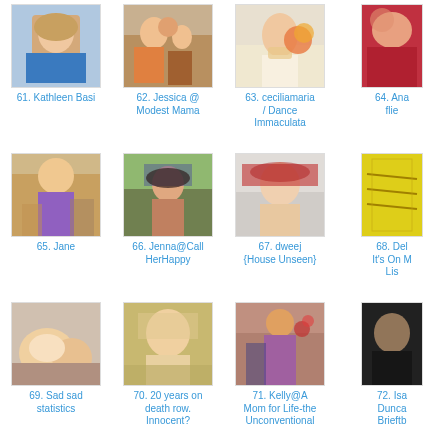[Figure (photo): Photo of Kathleen Basi - woman with curly hair]
61. Kathleen Basi
[Figure (photo): Photo of Jessica @ Modest Mama - group photo with children]
62. Jessica @ Modest Mama
[Figure (photo): Photo of ceciliamaria / Dance Immaculata - woman with flowers]
63. ceciliamaria / Dance Immaculata
[Figure (photo): Partial photo - Ana flies]
64. Ana flie
[Figure (photo): Photo of Jane - woman standing indoors]
65. Jane
[Figure (photo): Photo of Jenna@Call HerHappy - child outdoors]
66. Jenna@Call HerHappy
[Figure (photo): Photo of dweej {House Unseen} - woman with red headband]
67. dweej {House Unseen}
[Figure (photo): Partial photo - Del It's On My List]
68. Del It's On M Lis
[Figure (photo): Photo - Sad sad statistics - close-up of hands]
69. Sad sad statistics
[Figure (photo): Photo - 20 years on death row. Innocent? - woman facing camera]
70. 20 years on death row. Innocent?
[Figure (photo): Photo of Kelly@A Mom for Life-the Unconventional Family - child in costume]
71. Kelly@A Mom for Life-the Unconventional Family
[Figure (photo): Partial photo - Isa Duncan Brieftb]
72. Isa Dunca Brieftb